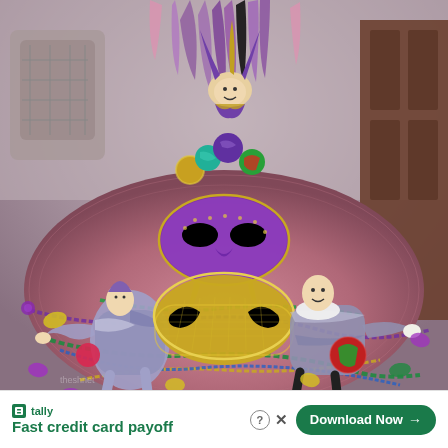[Figure (photo): Mardi Gras table centerpiece display on a round table with a pink/mauve tablecloth. Features colorful Mardi Gras masks (a large gold sequined mask and a purple sequined mask), jester/harlequin doll figurines in purple and silver costumes, colorful ornament balls (purple, teal, green, red), beaded necklaces in green, purple, and gold scattered across the table, Mardi Gras doubloons and coins, purple feathers at the top, and a jester figure at the top. Wooden chairs and a dark wood cabinet are visible in the background.]
tally  Fast credit card payoff  Download Now  ?